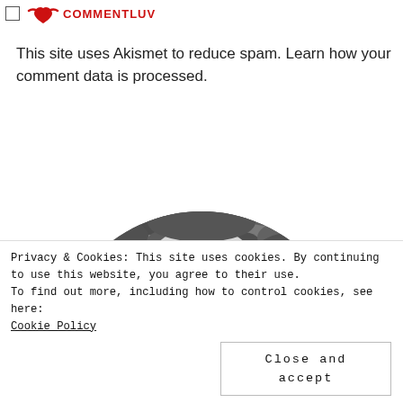[Figure (logo): CommentLuv logo with checkbox on the left and a red bird/heart icon with the text COMMENTLUV in red]
This site uses Akismet to reduce spam. Learn how your comment data is processed.
[Figure (photo): Black and white semicircular photo of a blonde woman smiling outdoors with leafy foliage in the background]
Privacy & Cookies: This site uses cookies. By continuing to use this website, you agree to their use.
To find out more, including how to control cookies, see here:
Cookie Policy
Close and accept
Welcome to Miss Blogosphere - a place and p